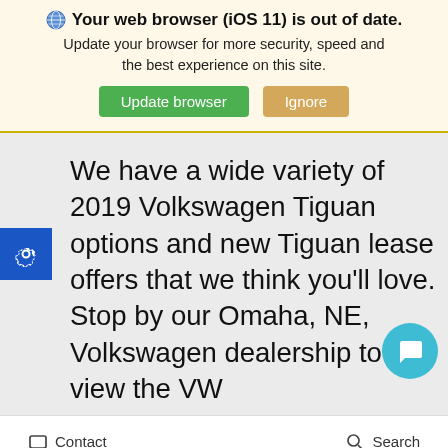Your web browser (iOS 11) is out of date. Update your browser for more security, speed and the best experience on this site. Update browser Ignore
We have a wide variety of 2019 Volkswagen Tiguan options and new Tiguan lease offers that we think you'll love. Stop by our Omaha, NE, Volkswagen dealership to view the VW
Contact   Search